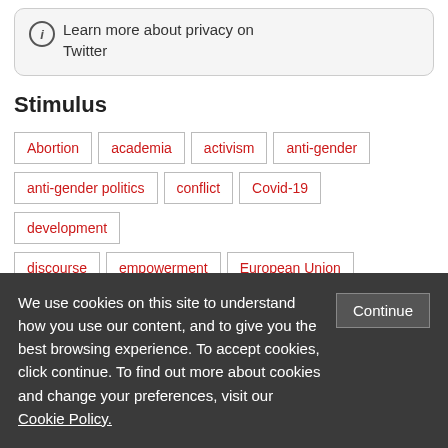ⓘ Learn more about privacy on Twitter
Stimulus
Abortion
academia
activism
anti-gender
anti-gender politics
conflict
Covid-19
development
discourse
empowerment
European Union
feminism
feminist research
gender
gendered violence
We use cookies on this site to understand how you use our content, and to give you the best browsing experience. To accept cookies, click continue. To find out more about cookies and change your preferences, visit our Cookie Policy.